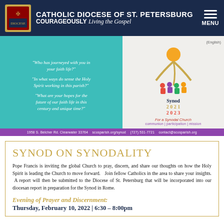CATHOLIC DIOCESE OF ST. PETERSBURG COURAGEOUSLY Living the Gospel MENU
[Figure (infographic): Synod 2021-2023 banner image with teal left panel containing faith questions in white italic text and right panel with Synod logo showing stylized figure with wheat, plus purple footer bar with address and contact info]
SYNOD ON SYNODALITY
Pope Francis is inviting the global Church to pray, discern, and share our thoughts on how the Holy Spirit is leading the Church to move forward. Join fellow Catholics in the area to share your insights. A report will then be submitted to the Diocese of St. Petersburg that will be incorporated into our diocesan report in preparation for the Synod in Rome.
Evening of Prayer and Discernment: Thursday, February 10, 2022 | 6:30 – 8:00pm